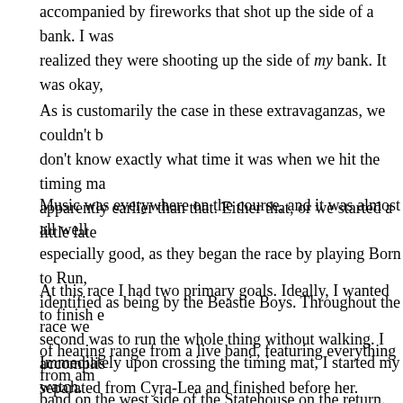accompanied by fireworks that shot up the side of a bank. I was realized they were shooting up the side of my bank. It was okay,
As is customarily the case in these extravaganzas, we couldn't b don't know exactly what time it was when we hit the timing ma apparently earlier than that. Either that, or we started a little late
Music was everywhere on the course, and it was almost all well especially good, as they began the race by playing Born to Run, identified as being by the Beastie Boys. Throughout the race we of hearing range from a live band, featuring everything from am band on the west side of the Statehouse on the return.
At this race I had two primary goals. Ideally, I wanted to finish e second was to run the whole thing without walking. I accomplis separated from Cyra-Lea and finished before her.
Immediately upon crossing the timing mat, I started my watch. the signs, all accompanied by prominent race clocks, but I neve